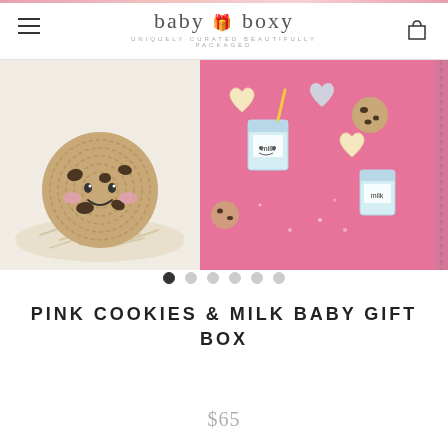baby gift boxy — UNIQUELY CURATED BEAUTIFULLY PACKAGED
[Figure (photo): Product photo of Pink Cookies & Milk Baby Gift Box showing a crocheted cookie rattle toy on a bed of shredded paper filler on the left, and pink fabric/swaddle with a cute milk carton and cookie pattern on the right]
PINK COOKIES & MILK BABY GIFT BOX
$65